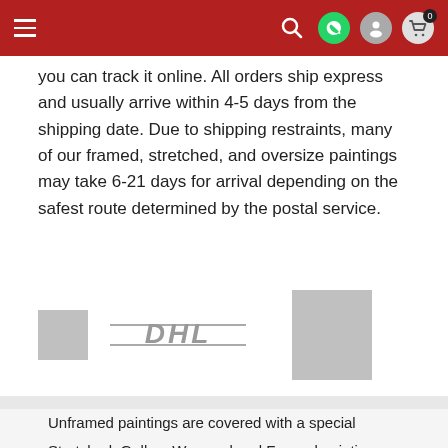Navigation bar with hamburger menu, search, WhatsApp, user, and cart icons
you can track it online. All orders ship express and usually arrive within 4-5 days from the shipping date. Due to shipping restraints, many of our framed, stretched, and oversize paintings may take 6-21 days for arrival depending on the safest route determined by the postal service.
[Figure (logo): Shipping carrier logos: small grey box, DHL logo in grey italic, large grey box]
Unframed paintings are covered with a special protective film, are gently rolled and then placed inside a strong specially designed tube.
Stretched, Gallery Wrapped and Framed paintings are covered with protective bubble wrap, separated by foam board and then